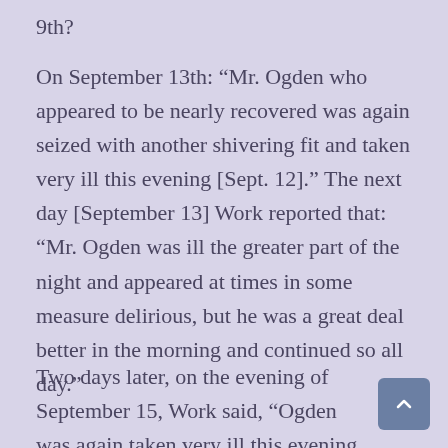9th?
On September 13th: “Mr. Ogden who appeared to be nearly recovered was again seized with another shivering fit and taken very ill this evening [Sept. 12].” The next day [September 13] Work reported that: “Mr. Ogden was ill the greater part of the night and appeared at times in some measure delirious, but he was a great deal better in the morning and continued so all day.”
Two days later, on the evening of September 15, Work said, “Ogden was again taken very ill this evening with a shivering of cold the same as these